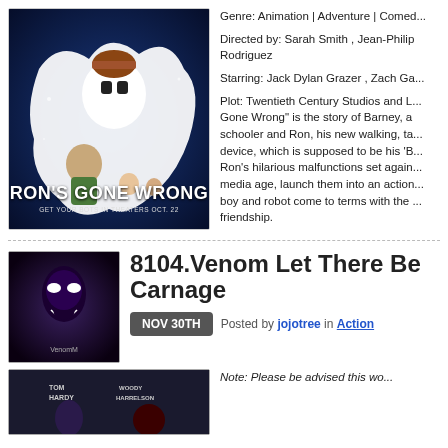[Figure (photo): Ron's Gone Wrong animated movie poster showing a ghost-like robot character and boy on blue background]
Genre: Animation | Adventure | Comedy
Directed by: Sarah Smith , Jean-Philip Rodriguez
Starring: Jack Dylan Grazer , Zach Ga...
Plot: Twentieth Century Studios and L... Gone Wrong" is the story of Barney, a schooler and Ron, his new walking, ta... device, which is supposed to be his 'B... Ron's hilarious malfunctions set again... media age, launch them into an action-... boy and robot come to terms with the ... friendship.
8104.Venom Let There Be Carnage
[Figure (photo): Venom Let There Be Carnage movie poster thumbnail]
NOV 30TH   Posted by jojotree in Action
[Figure (photo): Another movie poster thumbnail showing Tom Hardy and Woody Harrelson]
Note: Please be advised this wo...